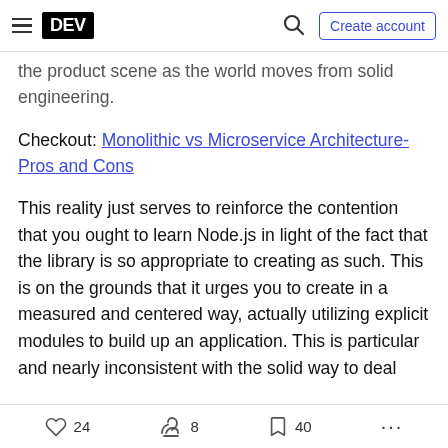DEV | Create account
the product scene as the world moves from solid engineering.
Checkout: Monolithic vs Microservice Architecture-Pros and Cons
This reality just serves to reinforce the contention that you ought to learn Node.js in light of the fact that the library is so appropriate to creating as such. This is on the grounds that it urges you to create in a measured and centered way, actually utilizing explicit modules to build up an application. This is particular and nearly inconsistent with the solid way to deal
24  8  40  ...